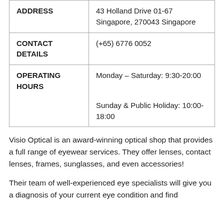| ADDRESS | 43 Holland Drive 01-67
Singapore, 270043 Singapore |
| CONTACT DETAILS | (+65) 6776 0052 |
| OPERATING HOURS | Monday – Saturday: 9:30-20:00

Sunday & Public Holiday: 10:00-18:00 |
Visio Optical is an award-winning optical shop that provides a full range of eyewear services. They offer lenses, contact lenses, frames, sunglasses, and even accessories!
Their team of well-experienced eye specialists will give you a diagnosis of your current eye condition and find